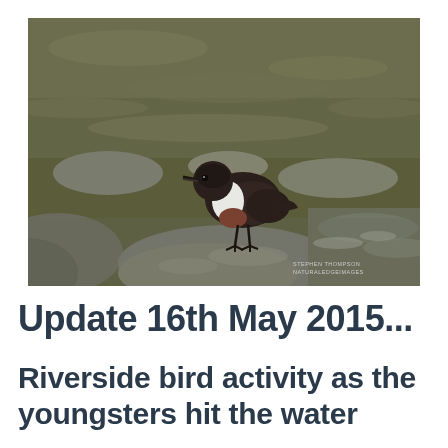[Figure (photo): A dipper bird with dark brown-black plumage and white throat/chest patch, standing on a wet rock in a river or stream. The background shows flowing water and rocks. Watermark reads 'STEPHEN THOMPSON NATURALEDGEIMAGES'.]
Update 16th May 2015...
Riverside bird activity as the youngsters hit the water